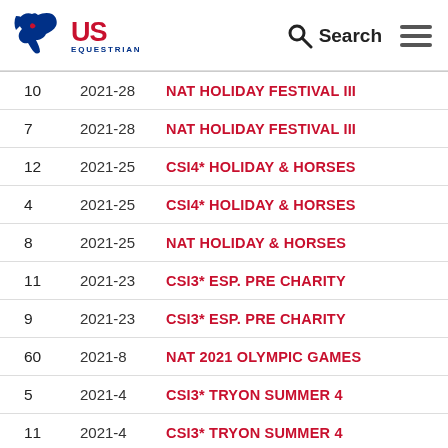[Figure (logo): US Equestrian logo with horse head graphic in blue/red and text 'US EQUESTRIAN']
|  |  |  |
| --- | --- | --- |
| 10 | 2021-28 | NAT HOLIDAY FESTIVAL III |
| 7 | 2021-28 | NAT HOLIDAY FESTIVAL III |
| 12 | 2021-25 | CSI4* HOLIDAY & HORSES |
| 4 | 2021-25 | CSI4* HOLIDAY & HORSES |
| 8 | 2021-25 | NAT HOLIDAY & HORSES |
| 11 | 2021-23 | CSI3* ESP. PRE CHARITY |
| 9 | 2021-23 | CSI3* ESP. PRE CHARITY |
| 60 | 2021-8 | NAT 2021 OLYMPIC GAMES |
| 5 | 2021-4 | CSI3* TRYON SUMMER 4 |
| 11 | 2021-4 | CSI3* TRYON SUMMER 4 |